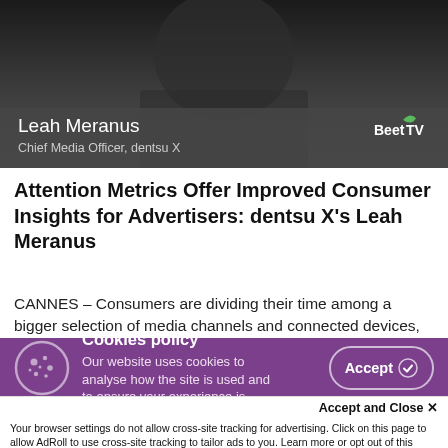[Figure (screenshot): Video thumbnail showing Leah Meranus, Chief Media Officer, dentsu X, with BeetTV logo overlay on a dark background]
Attention Metrics Offer Improved Consumer Insights for Advertisers: dentsu X's Leah Meranus
CANNES – Consumers are dividing their time among a bigger selection of media channels and connected devices, and it's not always clear whether they're paying attention to advertisements that appear among their preferred choices of
Cookies policy
Our website uses cookies to analyse how the site is used and to ensure your experience is
Accept and Close ✕
Your browser settings do not allow cross-site tracking for advertising. Click on this page to allow AdRoll to use cross-site tracking to tailor ads to you. Learn more or opt out of this AdRoll tracking by clicking here. This message only appears once.